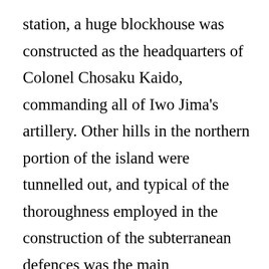station, a huge blockhouse was constructed as the headquarters of Colonel Chosaku Kaido, commanding all of Iwo Jima's artillery. Other hills in the northern portion of the island were tunnelled out, and typical of the thoroughness employed in the construction of the subterranean defences was the main communications centre south of Kita village, which was so spacious that it contained a chamber 55 yards (50 m) long and 22 yards (20 m) wide. This major structure was similar